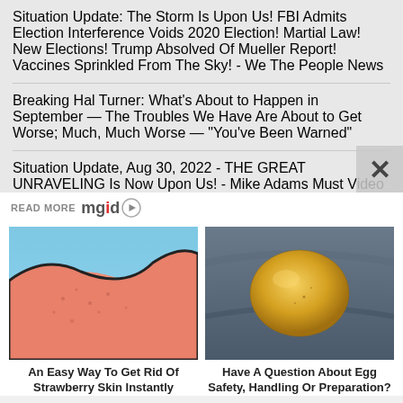Situation Update: The Storm Is Upon Us! FBI Admits Election Interference Voids 2020 Election! Martial Law! New Elections! Trump Absolved Of Mueller Report! Vaccines Sprinkled From The Sky! - We The People News
Breaking Hal Turner: What's About to Happen in September — The Troubles We Have Are About to Get Worse; Much, Much Worse — "You've Been Warned"
Situation Update, Aug 30, 2022 - THE GREAT UNRAVELING Is Now Upon Us! - Mike Adams Must Video
READ MORE mgid
[Figure (photo): Illustrated close-up of skin with strawberry skin/pores texture]
An Easy Way To Get Rid Of Strawberry Skin Instantly
[Figure (photo): Photo of a raw egg yolk/white on a dark fabric surface]
Have A Question About Egg Safety, Handling Or Preparation?